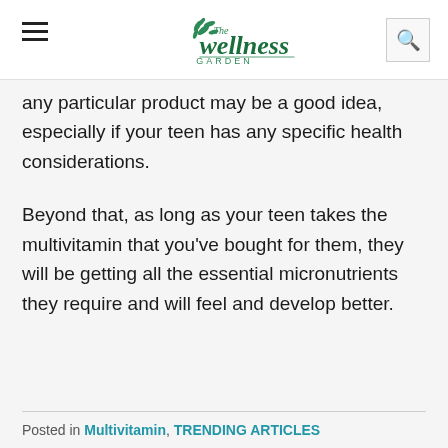The Wellness Garden
any particular product may be a good idea, especially if your teen has any specific health considerations.
Beyond that, as long as your teen takes the multivitamin that you've bought for them, they will be getting all the essential micronutrients they require and will feel and develop better.
Posted in Multivitamin, TRENDING ARTICLES